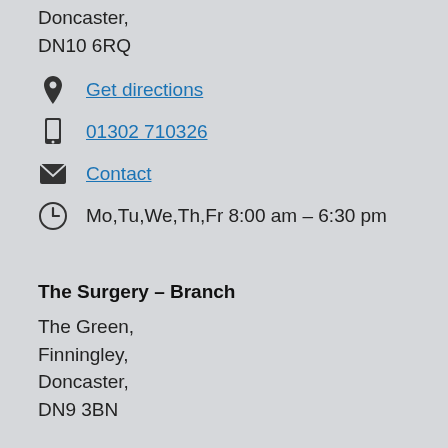Doncaster,
DN10 6RQ
Get directions
01302 710326
Contact
Mo,Tu,We,Th,Fr 8:00 am – 6:30 pm
The Surgery – Branch
The Green,
Finningley,
Doncaster,
DN9 3BN